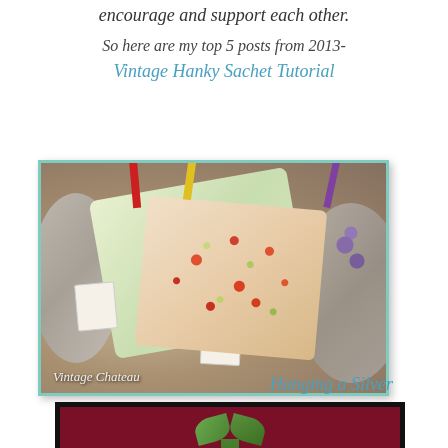encourage and support each other.
So here are my top 5 posts from 2013-
Vintage Hanky Sachet Tutorial
[Figure (photo): Photo of vintage hanky sachets made from floral handkerchiefs tied with colorful ribbons, displayed on silver plates. Watermark reads 'Vintage Chateau'.]
Hanging a Silver
[Figure (photo): Photo of a silver tray hanging on a dark red/crimson background with a green satin ribbon bow at the top.]